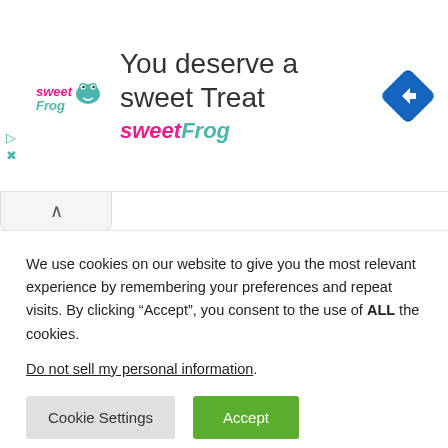[Figure (screenshot): Advertisement banner for sweetFrog frozen yogurt. Shows sweetFrog logo on left, headline 'You deserve a sweet Treat', subline 'sweetFrog' in teal, and a blue diamond navigation icon on the right.]
[Figure (other): Collapse/chevron tab button with upward arrow, light gray background]
Know Everything from Types To Causes And Symptoms of Traumatic Brain Injury.
People are always conscious of head injuries. It is not because a person's head is one of the most vulnerable
We use cookies on our website to give you the most relevant experience by remembering your preferences and repeat visits. By clicking “Accept”, you consent to the use of ALL the cookies.
Do not sell my personal information.
Cookie Settings   Accept